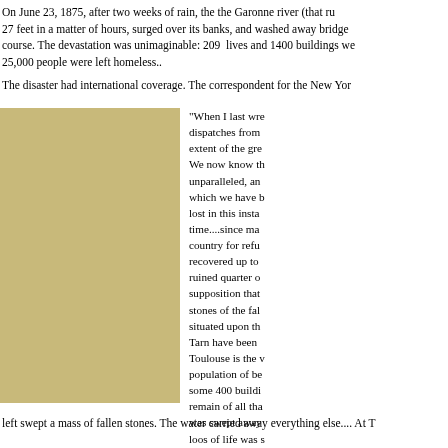On June 23, 1875, after two weeks of rain, the the Garonne river (that ru 27 feet in a matter of hours, surged over its banks, and washed away bridge course. The devastation was unimaginable: 209  lives and 1400 buildings we 25,000 people were left homeless..
The disaster had international coverage. The correspondent for the New Yor
[Figure (photo): Historical photograph or illustration, tan/sepia colored, showing a landscape or scene related to the Garonne river flood of 1875.]
"When I last wre dispatches from extent of the gre We now know th unparalleled, an which we have b lost in this insta time....since ma country for refu recovered up to ruined quarter o supposition that stones of the fal situated upon th Tarn have been Toulouse is the population of be some 400 buildi remain of all tha was swept away loos of life was at the approach neighboring hei destroyed in a fe
left swept a mass of fallen stones. The water carried away everything else.... At T